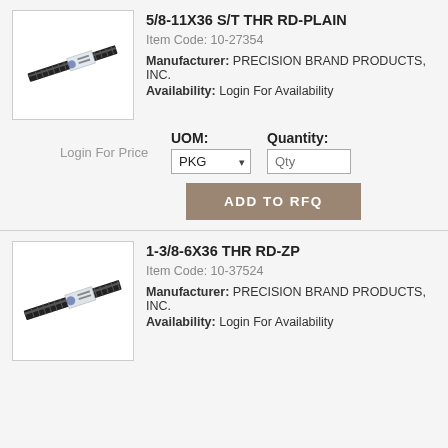[Figure (photo): Product image of threaded rod - black metal rod with label, shown diagonally]
5/8-11X36 S/T THR RD-PLAIN
Item Code: 10-27354
Manufacturer: PRECISION BRAND PRODUCTS, INC.
Availability: Login For Availability
Login For Price
UOM: PKG
Quantity: Qty
ADD TO RFQ
[Figure (photo): Product image of threaded rod - black metal rod with label, shown diagonally]
1-3/8-6X36 THR RD-ZP
Item Code: 10-37524
Manufacturer: PRECISION BRAND PRODUCTS, INC.
Availability: Login For Availability